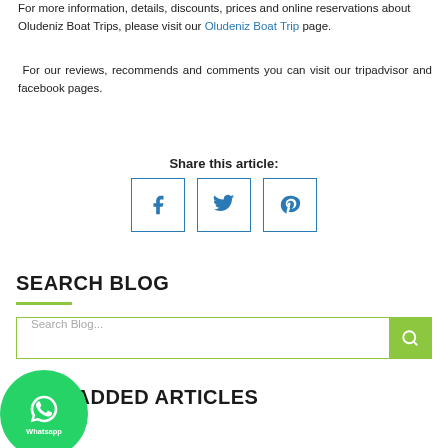For more information, details, discounts, prices and online reservations about Oludeniz Boat Trips, please visit our Oludeniz Boat Trip page.
For our reviews, recommends and comments you can visit our tripadvisor and facebook pages.
Share this article:
[Figure (infographic): Social share buttons: Facebook, Twitter, Pinterest]
SEARCH BLOG
Search Blog...
LAST ADDED ARTICLES